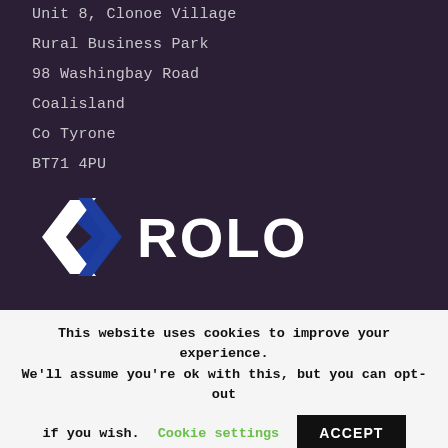Unit 8, Clonoe Village
Rural Business Park
98 Washingbay Road
Coalisland
Co Tyrone
BT71 4PU
[Figure (logo): ROLO company logo with angular diamond/chevron icon in white and blue, followed by the word ROLO in bold white block letters]
This website uses cookies to improve your experience. We'll assume you're ok with this, but you can opt-out if you wish. Cookie settings ACCEPT